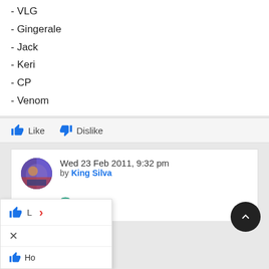- VLG
- Gingerale
- Jack
- Keri
- CP
- Venom
Like  Dislike
Wed 23 Feb 2011, 9:32 pm by King Silva
[Figure (illustration): Three emoji faces: one green smiley, one green smiley paired with a red face, and one yellow crowned smiley face]
L >
Ho